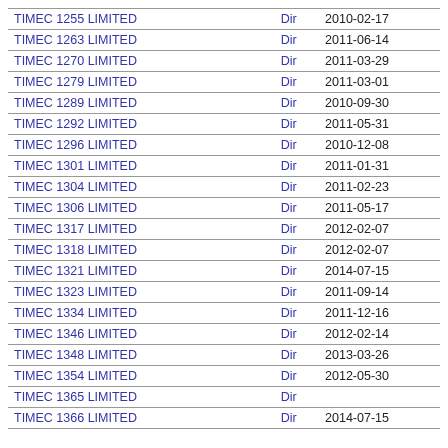|  | Dir | Date |
| --- | --- | --- |
| TIMEC 1255 LIMITED | Dir | 2010-02-17 |
| TIMEC 1263 LIMITED | Dir | 2011-06-14 |
| TIMEC 1270 LIMITED | Dir | 2011-03-29 |
| TIMEC 1279 LIMITED | Dir | 2011-03-01 |
| TIMEC 1289 LIMITED | Dir | 2010-09-30 |
| TIMEC 1292 LIMITED | Dir | 2011-05-31 |
| TIMEC 1296 LIMITED | Dir | 2010-12-08 |
| TIMEC 1301 LIMITED | Dir | 2011-01-31 |
| TIMEC 1304 LIMITED | Dir | 2011-02-23 |
| TIMEC 1306 LIMITED | Dir | 2011-05-17 |
| TIMEC 1317 LIMITED | Dir | 2012-02-07 |
| TIMEC 1318 LIMITED | Dir | 2012-02-07 |
| TIMEC 1321 LIMITED | Dir | 2014-07-15 |
| TIMEC 1323 LIMITED | Dir | 2011-09-14 |
| TIMEC 1334 LIMITED | Dir | 2011-12-16 |
| TIMEC 1346 LIMITED | Dir | 2012-02-14 |
| TIMEC 1348 LIMITED | Dir | 2013-03-26 |
| TIMEC 1354 LIMITED | Dir | 2012-05-30 |
| TIMEC 1365 LIMITED | Dir |  |
| TIMEC 1366 LIMITED | Dir | 2014-07-15 |